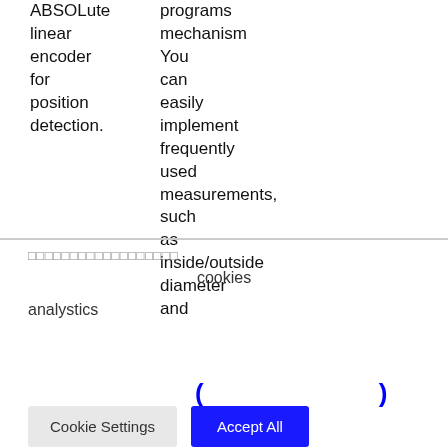ABSOLute linear encoder for position detection.
programs mechanism You can easily implement frequently used measurements, such as inside/outside diameter and
□□□□□□□□□□□□□□□□□□
cookies
analystics
( )
Cookie Settings  Accept All